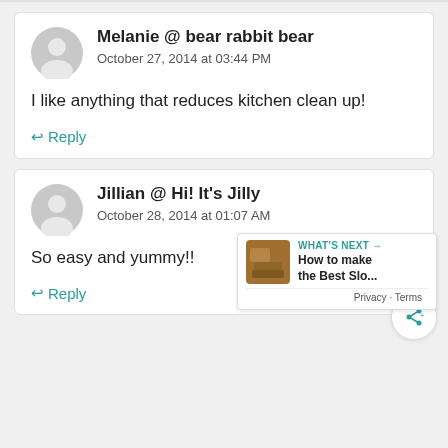Melanie @ bear rabbit bear
October 27, 2014 at 03:44 PM
I like anything that reduces kitchen clean up!
Reply
Jillian @ Hi! It's Jilly
October 28, 2014 at 01:07 AM
So easy and yummy!!
Reply
WHAT'S NEXT → How to make the Best Slo...
Privacy · Terms